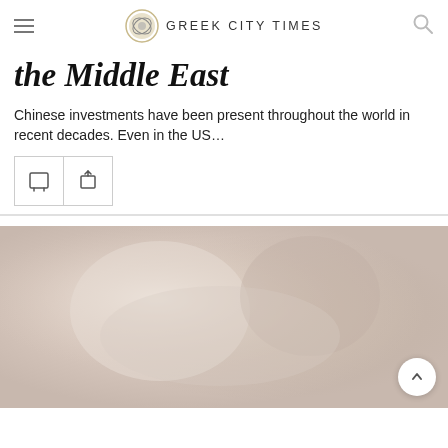GREEK CITY TIMES
the Middle East
Chinese investments have been present throughout the world in recent decades. Even in the US…
[Figure (photo): Blurred/soft-focus photograph with light beige and grey tones, appearing to show an indistinct scene]